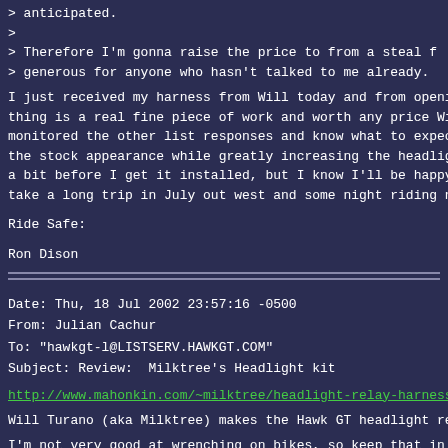> anticipated.
>
> Therefore I'm gonna raise the price to from a steal f
> generous for anyone who hasn't talked to me already.
I just received my harness from Will today and from openi
thing is a real fine piece of work and worth any price Wi
monitored the other list responses and know what to expec
the stock appearance while greatly increasing the headlig
a bit before I get it installed, but I know I'll be happy
take a long trip in July out west and some night riding n
Ride Safe:
Ron Dison
Date: Thu, 18 Jul 2002 23:57:16 -0500
From: Julian Cachur
To: "hawkgt-l@LISTSERV.HAWKGT.COM"
Subject: Review:  Milktree's Headlight kit
http://www.mahonkin.com/~milktree/headlight-relay-harness
Will Turano (aka Milktree) makes the Hawk GT headlight re
I'm not very good at wrenching on bikes, so keep that in